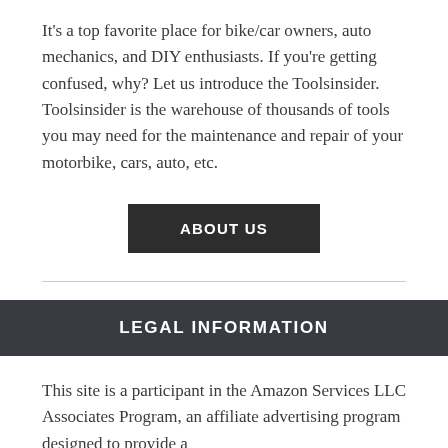It's a top favorite place for bike/car owners, auto mechanics, and DIY enthusiasts. If you're getting confused, why? Let us introduce the Toolsinsider. Toolsinsider is the warehouse of thousands of tools you may need for the maintenance and repair of your motorbike, cars, auto, etc.
ABOUT US
LEGAL INFORMATION
This site is a participant in the Amazon Services LLC Associates Program, an affiliate advertising program designed to provide a